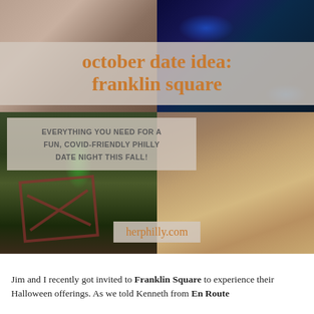[Figure (photo): Photo collage of 4 images: top-left shows a person with fringe clothing, top-right shows a blue-lit night scene near water, bottom-left shows Franklin Square park at night with green lights and a red fence gate, bottom-right shows two iced coffee drinks in clear cups with caramel drizzle on a wooden surface]
october date idea:
franklin square
EVERYTHING YOU NEED FOR A FUN, COVID-FRIENDLY PHILLY DATE NIGHT THIS FALL!
herphilly.com
Jim and I recently got invited to Franklin Square to experience their Halloween offerings. As we told Kenneth from En Route